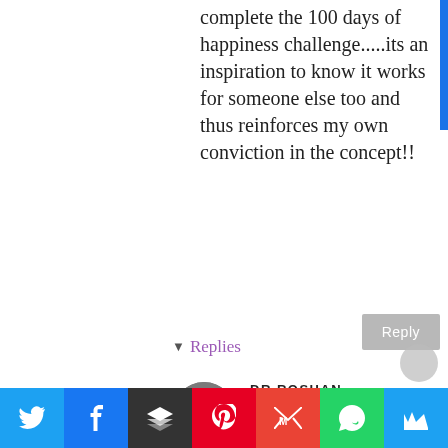complete the 100 days of happiness challenge.....its an inspiration to know it works for someone else too and thus reinforces my own conviction in the concept!!
Reply
▸ Replies
DR ROSHAN RADHAKRISHNAN
April 23, 2014
[Figure (other): Social sharing bar with Twitter, Facebook, Buffer, Pinterest, Gmail, WhatsApp, and Crown icons]